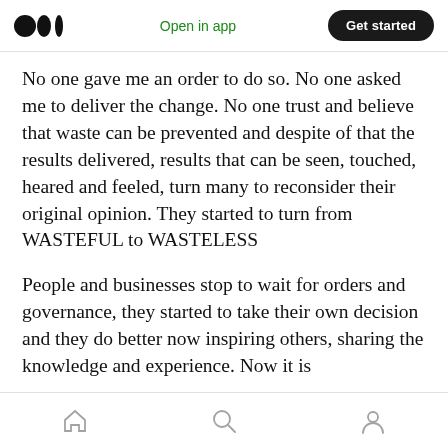Open in app | Get started
No one gave me an order to do so. No one asked me to deliver the change. No one trust and believe that waste can be prevented and despite of that the results delivered, results that can be seen, touched, heared and feeled, turn many to reconsider their original opinion. They started to turn from WASTEFUL to WASTELESS
People and businesses stop to wait for orders and governance, they started to take their own decision and they do better now inspiring others, sharing the knowledge and experience. Now it is
Home | Search | Profile